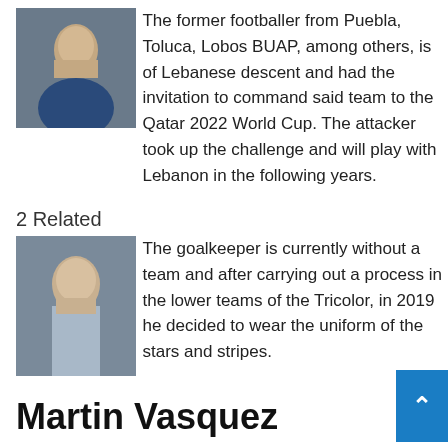[Figure (photo): Headshot photo of a male footballer in blue jersey]
The former footballer from Puebla, Toluca, Lobos BUAP, among others, is of Lebanese descent and had the invitation to command said team to the Qatar 2022 World Cup. The attacker took up the challenge and will play with Lebanon in the following years.
2 Related
[Figure (photo): Headshot photo of a young male goalkeeper]
The goalkeeper is currently without a team and after carrying out a process in the lower teams of the Tricolor, in 2019 he decided to wear the uniform of the stars and stripes.
Martin Vasquez